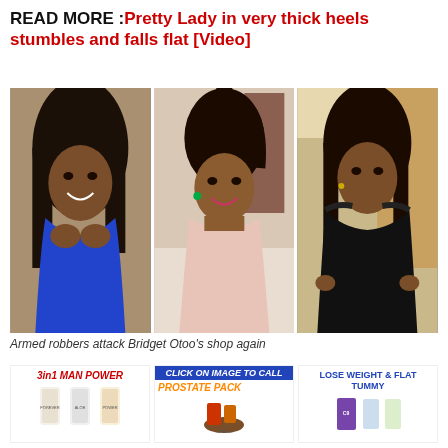READ MORE :Pretty Lady in very thick heels stumbles and falls flat [Video]
[Figure (photo): Three photos of Bridget Otoo side by side: left in blue dress, center in pink top, right in black outfit]
Armed robbers attack Bridget Otoo's shop again
[Figure (infographic): Advertisement: 3in1 MAN POWER with supplement bottles]
[Figure (infographic): Advertisement: CLICK ON IMAGE TO CALL - PROSTATE PACK]
[Figure (infographic): Advertisement: LOSE WEIGHT & FLAT TUMMY with C9 products]